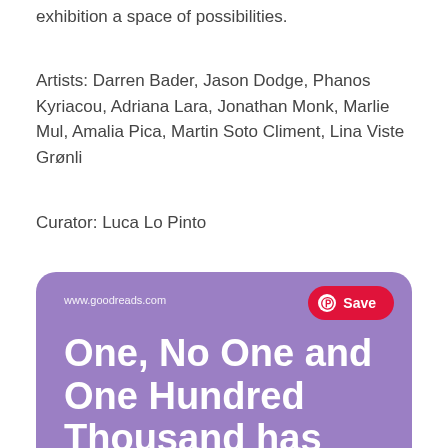exhibition a space of possibilities.
Artists: Darren Bader, Jason Dodge, Phanos Kyriacou, Adriana Lara, Jonathan Monk, Marlie Mul, Amalia Pica, Martin Soto Climent, Lina Viste Grønli
Curator: Luca Lo Pinto
[Figure (screenshot): Screenshot of a Goodreads page on a purple background. Shows URL www.goodreads.com with a red Pinterest Save button. Large white bold text reads: One, No One and One Hundred Thousand has 270 reviews. Maria said:]